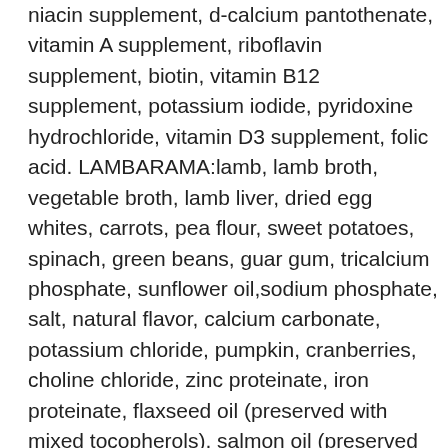niacin supplement, d-calcium pantothenate, vitamin A supplement, riboflavin supplement, biotin, vitamin B12 supplement, potassium iodide, pyridoxine hydrochloride, vitamin D3 supplement, folic acid. LAMBARAMA:lamb, lamb broth, vegetable broth, lamb liver, dried egg whites, carrots, pea flour, sweet potatoes, spinach, green beans, guar gum, tricalcium phosphate, sunflower oil,sodium phosphate, salt, natural flavor, calcium carbonate, potassium chloride, pumpkin, cranberries, choline chloride, zinc proteinate, iron proteinate, flaxseed oil (preserved with mixed tocopherols), salmon oil (preserved with mixed tocopherols), vitamin e supplement, copper proteinate, manganese proteinate, sodium selenite, thiamine mononitrate, cobalt proteinate, niacin supplement, d-calcium pantothenate, vitamin a supplement, riboflavin supplement, biotin, vitamin b12 supplement, potassium iodide, potassium chloride...